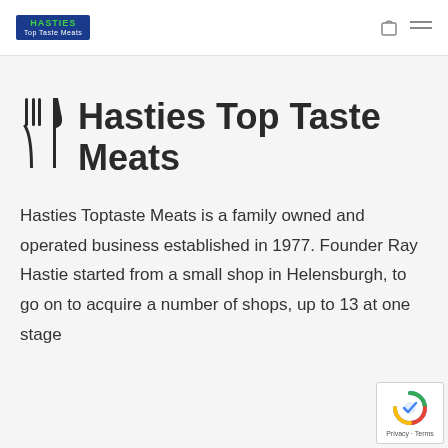HASTIES Top Taste Meats [logo] [cart icon] [menu icon]
Hasties Top Taste Meats
Hasties Toptaste Meats is a family owned and operated business established in 1977. Founder Ray Hastie started from a small shop in Helensburgh, to go on to acquire a number of shops, up to 13 at one stage